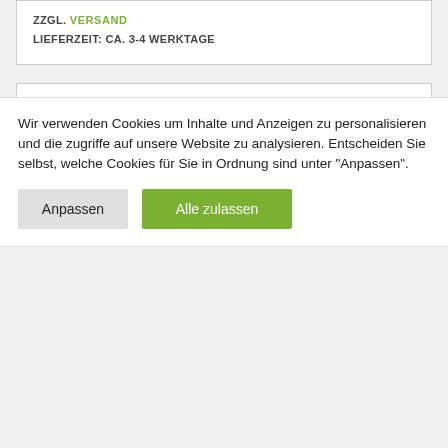ZZGL. VERSAND
LIEFERZEIT: CA. 3-4 WERKTAGE
Im Angebot
CORE TESTS COVID-19 AG TEST - PROFITEST
86,00€ 72,00€
ZZGL. 19% MWST.
ZZGL. VERSAND
Wir verwenden Cookies um Inhalte und Anzeigen zu personalisieren und die zugriffe auf unsere Website zu analysieren. Entscheiden Sie selbst, welche Cookies für Sie in Ordnung sind unter "Anpassen".
Anpassen
Alle zulassen